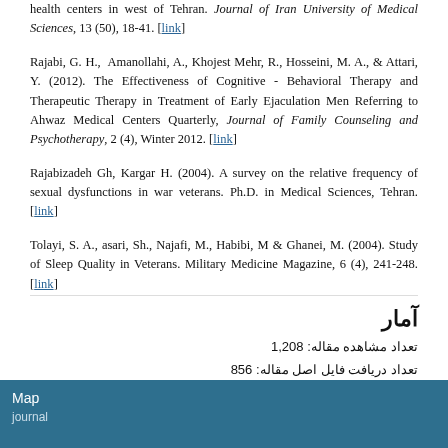health centers in west of Tehran. Journal of Iran University of Medical Sciences, 13 (50), 18-41. [link]
Rajabi, G. H., Amanollahi, A., Khojest Mehr, R., Hosseini, M. A., & Attari, Y. (2012). The Effectiveness of Cognitive - Behavioral Therapy and Therapeutic Therapy in Treatment of Early Ejaculation Men Referring to Ahwaz Medical Centers Quarterly, Journal of Family Counseling and Psychotherapy, 2 (4), Winter 2012. [link]
Rajabizadeh Gh, Kargar H. (2004). A survey on the relative frequency of sexual dysfunctions in war veterans. Ph.D. in Medical Sciences, Tehran. [link]
Tolayi, S. A., asari, Sh., Najafi, M., Habibi, M & Ghanei, M. (2004). Study of Sleep Quality in Veterans. Military Medicine Magazine, 6 (4), 241-248. [link]
آمار
تعداد مشاهده مقاله: 1,208
تعداد دریافت فایل اصل مقاله: 856
Map